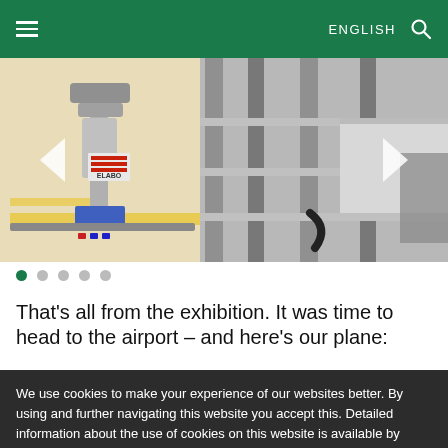≡  ENGLISH 🔍
[Figure (photo): Carousel showing industrial robotics equipment with ELABO branding — robotic arms, conveyor systems, and laboratory workbenches. Navigation arrows on left and right. Five navigation dots below, first dot active (green).]
That's all from the exhibition. It was time to head to the airport – and here's our plane:
We use cookies to make your experience of our websites better. By using and further navigating this website you accept this. Detailed information about the use of cookies on this website is available by clicking on more information.
ACCEPT AND CLOSE